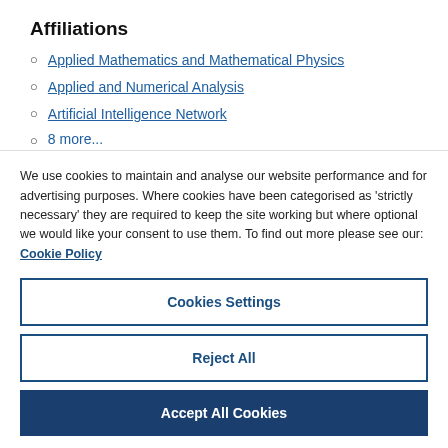Affiliations
Applied Mathematics and Mathematical Physics
Applied and Numerical Analysis
Artificial Intelligence Network
8 more...
We use cookies to maintain and analyse our website performance and for advertising purposes. Where cookies have been categorised as ‘strictly necessary’ they are required to keep the site working but where optional we would like your consent to use them. To find out more please see our: Cookie Policy
Cookies Settings
Reject All
Accept All Cookies